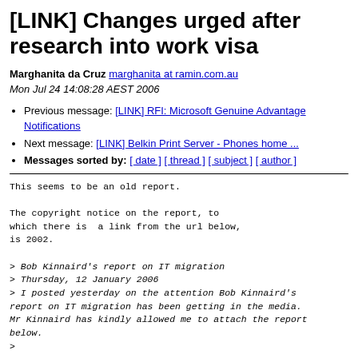[LINK] Changes urged after research into work visa
Marghanita da Cruz marghanita at ramin.com.au
Mon Jul 24 14:08:28 AEST 2006
Previous message: [LINK] RFI: Microsoft Genuine Advantage Notifications
Next message: [LINK] Belkin Print Server - Phones home ...
Messages sorted by: [ date ] [ thread ] [ subject ] [ author ]
This seems to be an old report.

The copyright notice on the report, to
which there is  a link from the url below,
is 2002.

> Bob Kinnaird's report on IT migration
> Thursday, 12 January 2006
> I posted yesterday on the attention Bob Kinnaird's
report on IT migration has been getting in the media.
Mr Kinnaird has kindly allowed me to attach the report
below.
>